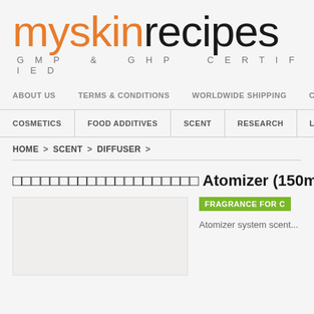[Figure (logo): myskinrecipes logo with orange 'myskin' and black 'recipes' text, GMP & GHP CERTIFIED tagline below]
ABOUT US   TERMS & CONDITIONS   WORLDWIDE SHIPPING   CO...
COSMETICS   FOOD ADDITIVES   SCENT   RESEARCH   LASE...
HOME > SCENT > DIFFUSER >
□□□□□□□□□□□□□□□□□□□□ Atomizer (150ml/10...
[Figure (photo): Product image box - empty/light beige placeholder]
FRAGRANCE FOR C...
Atomizer system scent...